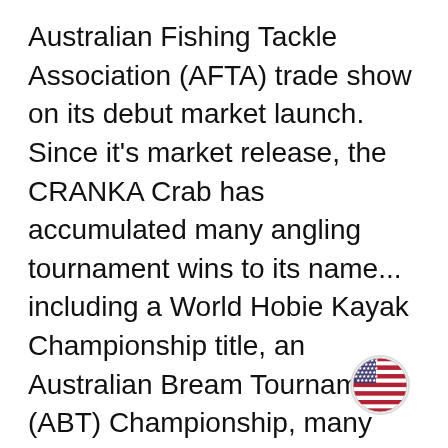Australian Fishing Tackle Association (AFTA) trade show on its debut market launch.  Since it's market release, the CRANKA Crab has accumulated many angling tournament wins to its name... including a World Hobie Kayak Championship title, an Australian Bream Tournament (ABT) Championship, many Australian Bream Tournament Event wins, and countless other angling tournament victories. This award winning lure was originally designed to target fish from the Acanthopagrus genus which includes fish species commonly referred to as BREAM within Australia. In addition to becoming the go-to lure for anglers targeting Australian Bream... CRANKA Crab has also proven to be highly